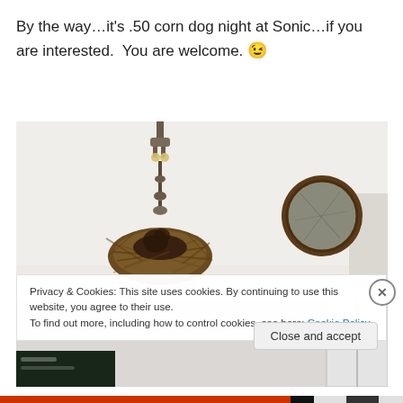By the way…it's .50 corn dog night at Sonic…if you are interested.  You are welcome. 😉
[Figure (photo): Interior room photo showing a bird nest on a chandelier/light fixture, a round dark-framed mirror on the wall, and white cabinet/wardrobe in the corner. White walls, ceiling with ornate chandelier.]
Privacy & Cookies: This site uses cookies. By continuing to use this website, you agree to their use.
To find out more, including how to control cookies, see here: Cookie Policy